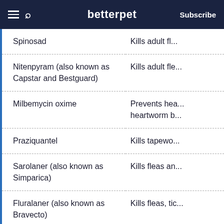betterpet | Subscribe
| Ingredient | Effect |
| --- | --- |
| Spinosad | Kills adult fl... |
| Nitenpyram (also known as Capstar and Bestguard) | Kills adult fle... |
| Milbemycin oxime | Prevents hea... heartworm b... |
| Praziquantel | Kills tapewo... |
| Sarolaner (also known as Simparica) | Kills fleas an... |
| Fluralaner (also known as Bravecto) | Kills fleas, tic... |